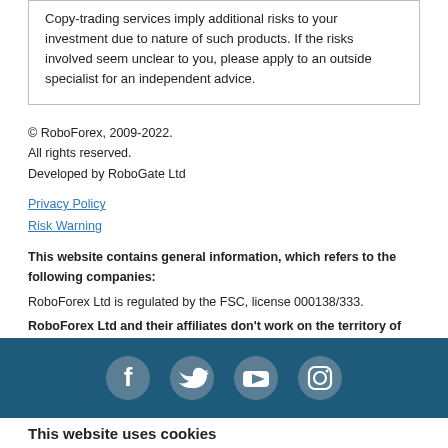Copy-trading services imply additional risks to your investment due to nature of such products. If the risks involved seem unclear to you, please apply to an outside specialist for an independent advice.
© RoboForex, 2009-2022.
All rights reserved.
Developed by RoboGate Ltd
Privacy Policy
Risk Warning
This website contains general information, which refers to the following companies:
RoboForex Ltd is regulated by the FSC, license 000138/333.
RoboForex Ltd and their affiliates don't work on the territory of the USA, Canada, Japan, Australia, Bonaire, Curaçao, East Timor, Iran, Liberia, Saipan, Russia, Sint Eustatius, Tahiti, Turkey, Guinea-Bissau, Micronesia, Northern Mariana Islands, Svalbard and Jan Mayen, South Sudan, and other restricted countries. RoboForex Ltd and its affiliates do not target EU/EEA/UK clients.
[Figure (other): Footer bar with social media icons: Facebook, Twitter, YouTube, Instagram on dark teal background]
This website uses cookies